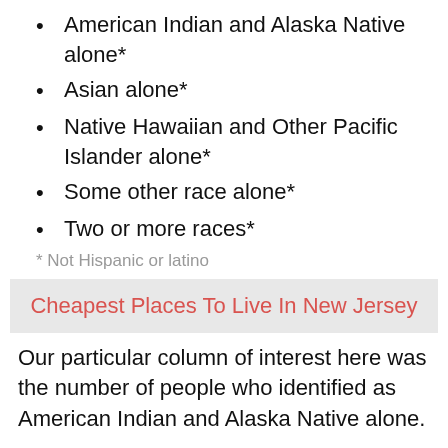American Indian and Alaska Native alone*
Asian alone*
Native Hawaiian and Other Pacific Islander alone*
Some other race alone*
Two or more races*
* Not Hispanic or latino
Cheapest Places To Live In New Jersey
Our particular column of interest here was the number of people who identified as American Indian and Alaska Native alone.
We limited our analysis to places with a population greater than 5,000 people. That left us with 185 cities.